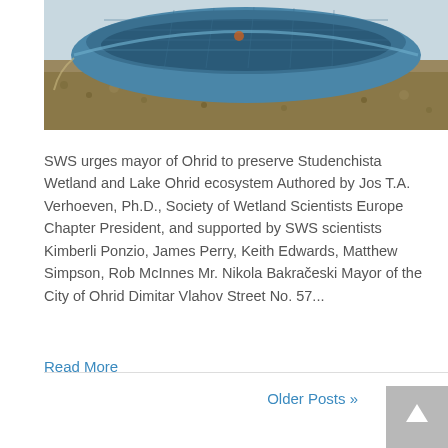[Figure (photo): A blue wooden boat resting on a pebbly shore, viewed from above at an angle. The boat is weathered and sits on gravel/stones.]
SWS urges mayor of Ohrid to preserve Studenchista Wetland and Lake Ohrid ecosystem Authored by Jos T.A. Verhoeven, Ph.D., Society of Wetland Scientists Europe Chapter President, and supported by SWS scientists Kimberli Ponzio, James Perry, Keith Edwards, Matthew Simpson, Rob McInnes Mr. Nikola Bakračeski Mayor of the City of Ohrid Dimitar Vlahov Street No. 57...
Read More
Older Posts »